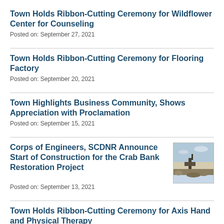Town Holds Ribbon-Cutting Ceremony for Wildflower Center for Counseling
Posted on: September 27, 2021
Town Holds Ribbon-Cutting Ceremony for Flooring Factory
Posted on: September 20, 2021
Town Highlights Business Community, Shows Appreciation with Proclamation
Posted on: September 15, 2021
Corps of Engineers, SCDNR Announce Start of Construction for the Crab Bank Restoration Project
[Figure (photo): Aerial or ground-level photo of construction site at Crab Bank, showing sandy terrain and construction equipment]
Posted on: September 13, 2021
Town Holds Ribbon-Cutting Ceremony for Axis Hand and Physical Therapy
Posted on: September 13, 2021